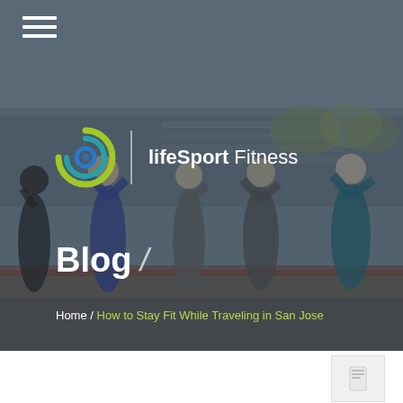[Figure (photo): Hero banner with group of people running/exercising outdoors on a track, with bleachers in the background. Dark overlay applied. Shows the lifeSport Fitness logo and Blog title.]
≡ (hamburger menu icon)
[Figure (logo): lifeSport Fitness logo: circular swirl icon in green/teal/blue with white divider line and text 'lifeSport Fitness']
Blog /
Home / How to Stay Fit While Traveling in San Jose